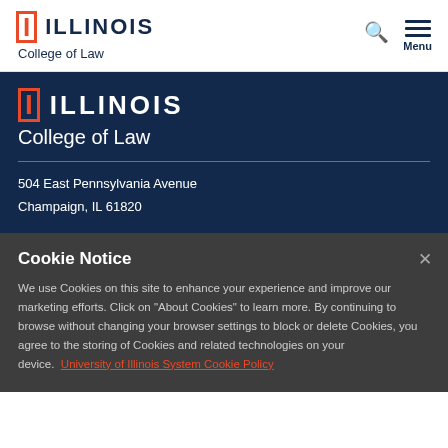[Figure (logo): University of Illinois wordmark logo with block I in orange and ILLINOIS text in navy, with College of Law subtitle, in white navigation bar]
[Figure (logo): University of Illinois wordmark logo with block I in orange and ILLINOIS text in white, with College of Law subtitle, on dark navy background]
504 East Pennsylvania Avenue
Champaign, IL 61820
Cookie Notice
We use Cookies on this site to enhance your experience and improve our marketing efforts. Click on “About Cookies” to learn more. By continuing to browse without changing your browser settings to block or delete Cookies, you agree to the storing of Cookies and related technologies on your device.  University of Illinois System Cookie Policy